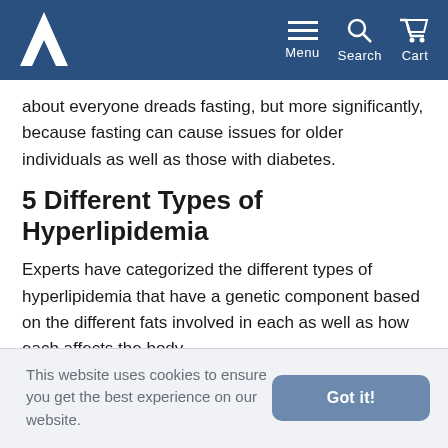Menu | Search | Cart
about everyone dreads fasting, but more significantly, because fasting can cause issues for older individuals as well as those with diabetes.
5 Different Types of Hyperlipidemia
Experts have categorized the different types of hyperlipidemia that have a genetic component based on the different fats involved in each as well as how each affects the body.
Type I, hyperlipidemia familial lipoprotein lipase deficiency: This
This website uses cookies to ensure you get the best experience on our website.